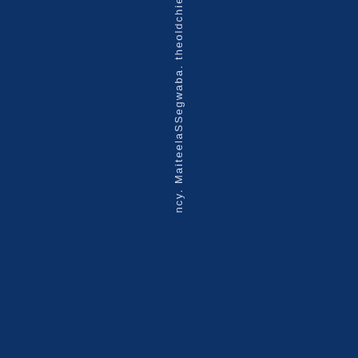ncy. MaiteelaSSegwaba. theoldchief